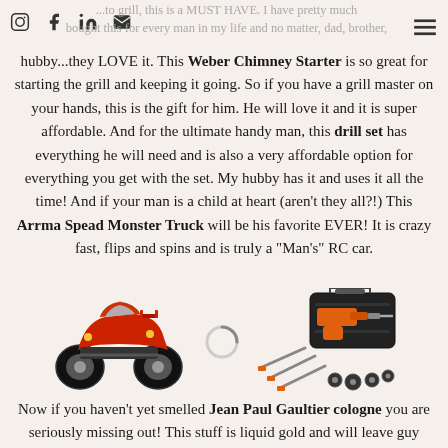...to grill, this is a MUST HAVE. I have pretty much bought this for every man in my life and no matter, dad, brother,
hubby...they LOVE it. This Weber Chimney Starter is so great for starting the grill and keeping it going. So if you have a grill master on your hands, this is the gift for him. He will love it and it is super affordable. And for the ultimate handy man, this drill set has everything he will need and is also a very affordable option for everything you get with the set. My hubby has it and uses it all the time! And if your man is a child at heart (aren't they all?!) This Arrma Spead Monster Truck will be his favorite EVER! It is crazy fast, flips and spins and is truly a “Man’s” RC car.
[Figure (illustration): Red Arrma Spead Monster Truck RC car illustration]
[Figure (illustration): Loading spinner circle icon]
[Figure (illustration): Black and orange drill set with tools and bag]
Now if you haven’t yet smelled Jean Paul Gaultier cologne you are seriously missing out! This stuff is liquid gold and will leave guy man